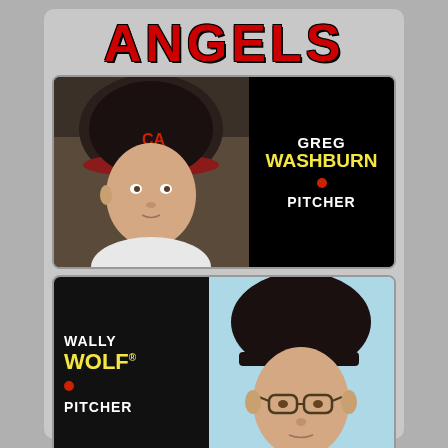ANGELS
[Figure (photo): Greg Washburn pitcher photo - man wearing California Angels baseball cap, close-up portrait]
GREG WASHBURN • PITCHER
[Figure (photo): Wally Wolf pitcher photo - man wearing black baseball cap with glasses, light blue background]
WALLY WOLF • PITCHER